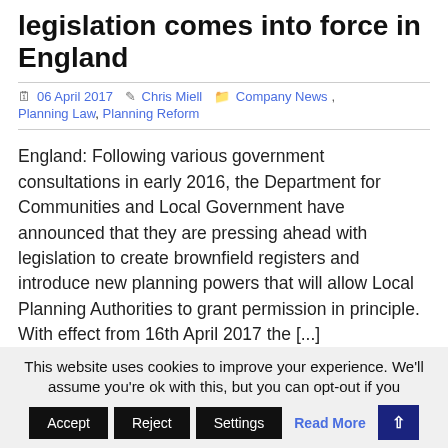legislation comes into force in England
06 April 2017  Chris Miell  Company News, Planning Law, Planning Reform
England: Following various government consultations in early 2016, the Department for Communities and Local Government have announced that they are pressing ahead with legislation to create brownfield registers and introduce new planning powers that will allow Local Planning Authorities to grant permission in principle. With effect from 16th April 2017 the [...]
This website uses cookies to improve your experience. We'll assume you're ok with this, but you can opt-out if you wish.